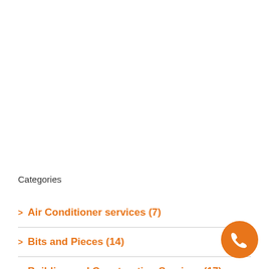Categories
> Air Conditioner services (7)
> Bits and Pieces (14)
> Building and Construction Services (17)
[Figure (illustration): Orange circular phone button with white telephone handset icon in bottom-right corner]